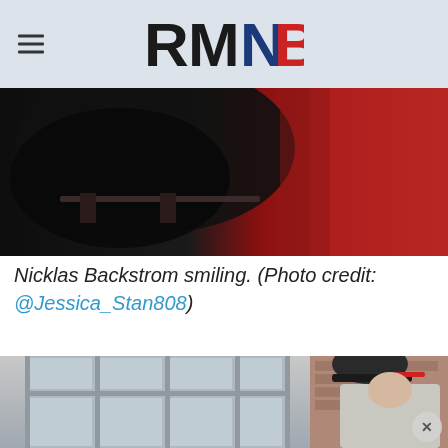RMNB
[Figure (photo): Close-up photo showing dark black fabric on left side and red background/curtain on right side]
Nicklas Backstrom smiling. (Photo credit: @Jessica_Stan808)
[Figure (photo): Photo of a person wearing a black baseball cap with red brim, bending their head down, in front of a building with white-framed glass doors and brick wall]